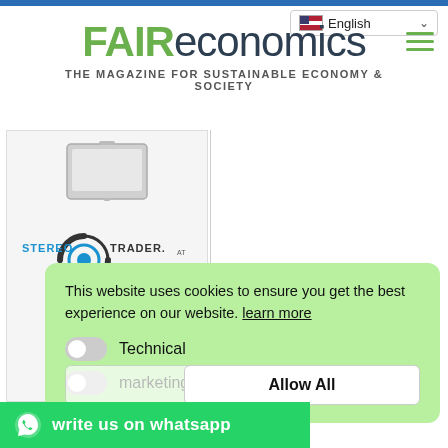FAIReconomics – THE MAGAZINE FOR SUSTAINABLE ECONOMY & SOCIETY
English
[Figure (logo): StereoTrader logo with tablet device above it inside a bordered box]
This website uses cookies to ensure you get the best experience on our website. learn more
Technical
marketing
Allow All
write us on whatsapp